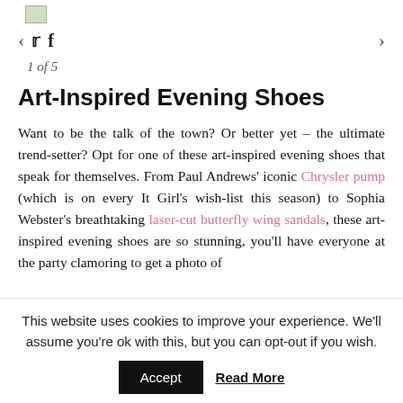[Figure (photo): Small thumbnail image at the top of the page]
< (twitter) (facebook)    >  navigation bar with social icons and arrows
1 of 5
Art-Inspired Evening Shoes
Want to be the talk of the town? Or better yet – the ultimate trend-setter? Opt for one of these art-inspired evening shoes that speak for themselves. From Paul Andrews' iconic Chrysler pump (which is on every It Girl's wish-list this season) to Sophia Webster's breathtaking laser-cut butterfly wing sandals, these art-inspired evening shoes are so stunning, you'll have everyone at the party clamoring to get a photo of
This website uses cookies to improve your experience. We'll assume you're ok with this, but you can opt-out if you wish. Accept  Read More